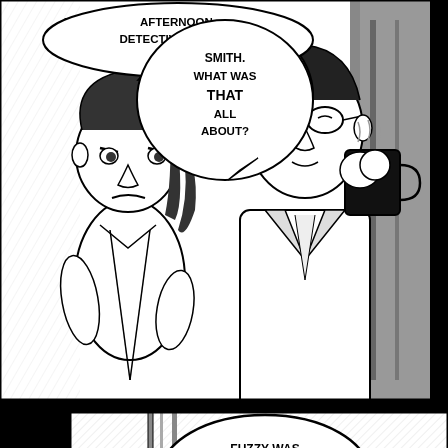[Figure (illustration): Comic book page with three panels. Panel 1 (top): A woman with dark hair in a ponytail confronts a man holding a coffee mug. Speech bubbles read 'AFTERNOON, DETECTIVE MORRIS.' and 'SMITH. WHAT WAS THAT ALL ABOUT?' A third partial panel on the right shows cropped text 'DO... B...'. Panel 2 (middle): Interior office scene with silhouetted figures. Speech bubbles: 'FUZZY WAS HERE? WHAT DID HE WANT?' and 'ACTUALLY, HE WAS ABOUT THAT OLD CO... HAZEL WHATS-H...'. Panel 3 (bottom, partial): Shows partial speech bubbles with 'HAZEL' and 'YEAH! NOW WHY...'.]